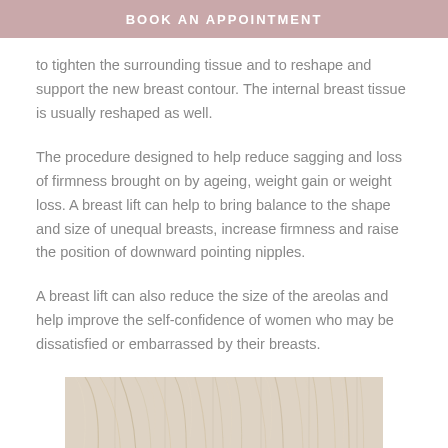BOOK AN APPOINTMENT
to tighten the surrounding tissue and to reshape and support the new breast contour. The internal breast tissue is usually reshaped as well.
The procedure designed to help reduce sagging and loss of firmness brought on by ageing, weight gain or weight loss. A breast lift can help to bring balance to the shape and size of unequal breasts, increase firmness and raise the position of downward pointing nipples.
A breast lift can also reduce the size of the areolas and help improve the self-confidence of women who may be dissatisfied or embarrassed by their breasts.
[Figure (photo): Close-up photo of blonde/light hair against a light background]